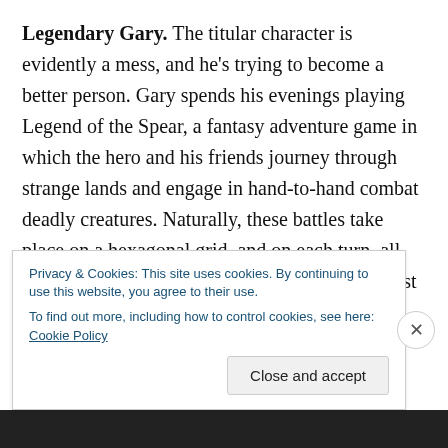Legendary Gary. The titular character is evidently a mess, and he's trying to become a better person. Gary spends his evenings playing Legend of the Spear, a fantasy adventure game in which the hero and his friends journey through strange lands and engage in hand-to-hand combat deadly creatures. Naturally, these battles take place on a hexagonal grid, and on each turn, all fighters act simultaneously. This means you must decide what action each member of your party will perform. Sounds like the game is split between this type of gameplay and dealing with Gary's normal, everyday life. Also, Evan
Privacy & Cookies: This site uses cookies. By continuing to use this website, you agree to their use.
To find out more, including how to control cookies, see here: Cookie Policy
Close and accept